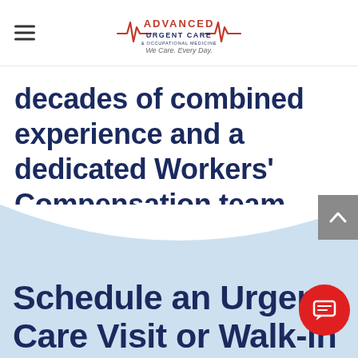Advanced Urgent Care & Occupational Medicine — We Care. Every Day.
decades of combined experience and a dedicated Workers' Compensation team, we provide high-quality care while keeping your company's interests in mind.
Schedule an Urgent Care Visit or Walk-in